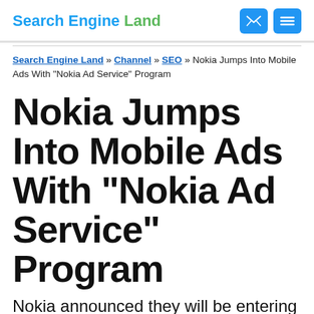Search Engine Land
Search Engine Land » Channel » SEO » Nokia Jumps Into Mobile Ads With “Nokia Ad Service” Program
Nokia Jumps Into Mobile Ads With “Nokia Ad Service” Program
Nokia announced they will be entering the mobile ad space with a program for advertisers, Nokia Ad Service, plus a